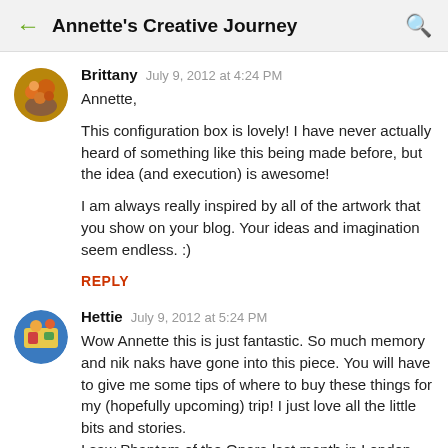Annette's Creative Journey
Brittany   July 9, 2012 at 4:24 PM

Annette,

This configuration box is lovely! I have never actually heard of something like this being made before, but the idea (and execution) is awesome!

I am always really inspired by all of the artwork that you show on your blog. Your ideas and imagination seem endless. :)

REPLY
Hettie   July 9, 2012 at 5:24 PM

Wow Annette this is just fantastic. So much memory and nik naks have gone into this piece. You will have to give me some tips of where to buy these things for my (hopefully upcoming) trip! I just love all the little bits and stories.
I saw Phantom of the Opera last month in London. Wasn't it awesome? We had front row Circle seats and I